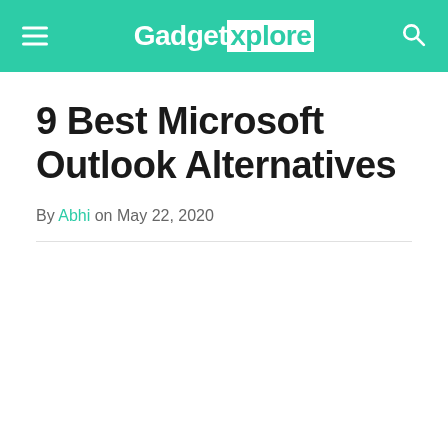GadgetXplore
9 Best Microsoft Outlook Alternatives
By Abhi on May 22, 2020